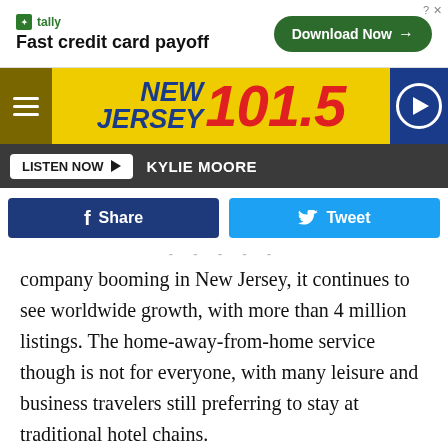[Figure (screenshot): Tally ad banner: Fast credit card payoff with Download Now button]
[Figure (logo): New Jersey 101.5 radio station header with hamburger menu and play button]
LISTEN NOW ▶  KYLIE MOORE
[Figure (screenshot): Facebook Share and Twitter Tweet social sharing buttons]
- - - - -
company booming in New Jersey, it continues to see worldwide growth, with more than 4 million listings. The home-away-from-home service though is not for everyone, with many leisure and business travelers still preferring to stay at traditional hotel chains.
In this episode of Forever 39, we discuss the disadvantage and advantages of both Airbnbs and hotels. What's your preference? It could depend on the type of traveler you are.